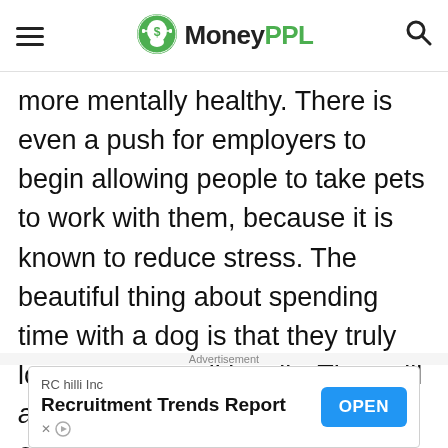MoneyPPL
more mentally healthy. There is even a push for employers to begin allowing people to take pets to work with them, because it is known to reduce stress. The beautiful thing about spending time with a dog is that they truly love you unconditionally. They will always want to play with you. Get outside with your canine,
Advertisement
RC hilli Inc — Recruitment Trends Report — OPEN